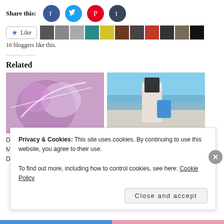Share this:
[Figure (infographic): Row of social share icons: Facebook (blue circle), Twitter (light blue circle), Pinterest (red circle), Tumblr (dark blue circle)]
[Figure (infographic): Like button with star icon followed by a strip of 11 blogger avatars/profile images]
16 bloggers like this.
Related
[Figure (photo): Left related article image: artistic purple-tinted photo of a man with light streaks]
[Figure (photo): Right related article image: person holding a blue waterproof bag near rocky coast]
Privacy & Cookies: This site uses cookies. By continuing to use this website, you agree to their use.
To find out more, including how to control cookies, see here: Cookie Policy
Close and accept